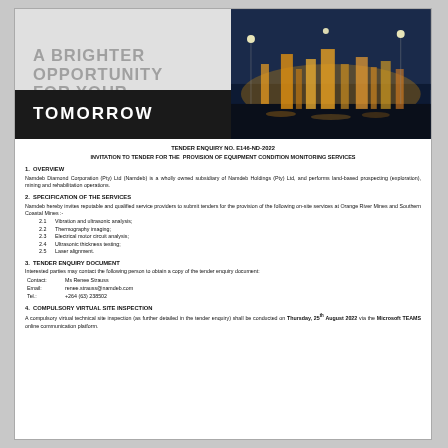[Figure (illustration): Header banner with 'A Brighter Opportunity For Your Tomorrow' text on left grey panel, 'TENDERS' on dark grey right panel, and industrial mining facility photo at night on far right. 'TOMORROW' in white on black bar at bottom left.]
TENDER ENQUIRY NO. E146-ND-2022
INVITATION TO TENDER FOR THE PROVISION OF EQUIPMENT CONDITION MONITORING SERVICES
1. OVERVIEW
Namdeb Diamond Corporation (Pty) Ltd (Namdeb) is a wholly owned subsidiary of Namdeb Holdings (Pty) Ltd, and performs land-based prospecting (exploration), mining and rehabilitation operations.
2. SPECIFICATION OF THE SERVICES
Namdeb hereby invites reputable and qualified service providers to submit tenders for the provision of the following on-site services at Orange River Mines and Southern Coastal Mines :-
2.1  Vibration and ultrasonic analysis;
2.2  Thermography imaging;
2.3  Electrical motor circuit analysis;
2.4  Ultrasonic thickness testing;
2.5  Laser alignment.
3. TENDER ENQUIRY DOCUMENT
Interested parties may contact the following person to obtain a copy of the tender enquiry document:
Contact: Ms Renee Strauss
Email: renee.strauss@namdeb.com
Tel.: +264 (63) 238502
4. COMPULSORY VIRTUAL SITE INSPECTION
A compulsory virtual technical site inspection (as further detailed in the tender enquiry) shall be conducted on Thursday, 25th August 2022 via the Microsoft TEAMS online communication platform.